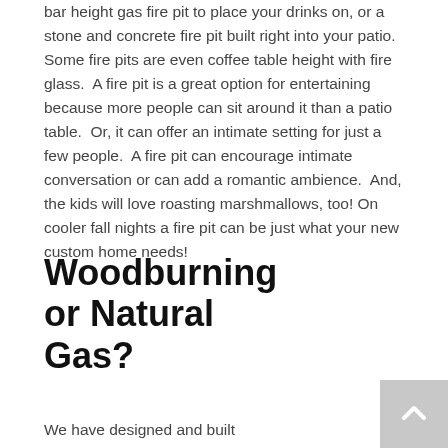bar height gas fire pit to place your drinks on, or a stone and concrete fire pit built right into your patio. Some fire pits are even coffee table height with fire glass.  A fire pit is a great option for entertaining because more people can sit around it than a patio table.  Or, it can offer an intimate setting for just a few people.  A fire pit can encourage intimate conversation or can add a romantic ambience.  And, the kids will love roasting marshmallows, too! On cooler fall nights a fire pit can be just what your new custom home needs!
Woodburning or Natural Gas?
We have designed and built many different types of fire pits for our custom
[Figure (other): Loading spinner (spinning wheel icon)]